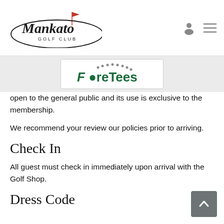Mankato Golf Club — ForeTees
[Figure (logo): ForeTees logo with golf ball dots forming an arc]
open to the general public and its use is exclusive to the membership.
We recommend your review our policies prior to arriving.
Check In
All guest must check in immediately upon arrival with the Golf Shop.
Dress Code